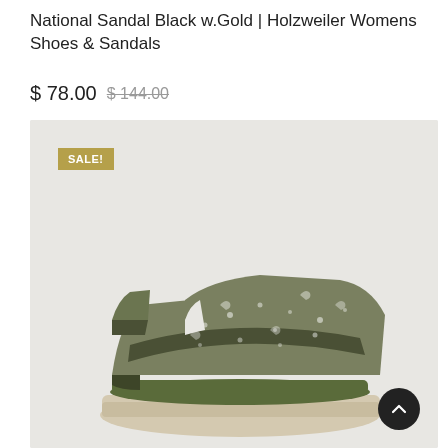National Sandal Black w.Gold | Holzweiler Womens Shoes & Sandals
$ 78.00  $ 144.00
[Figure (photo): Product photo of a Holzweiler National Sandal in olive/khaki color with paisley pattern, featuring velcro straps and a beige platform sole, shown on a light grey background. A gold 'SALE!' badge appears in the upper left of the image. A dark circular back-to-top button appears in the lower right.]